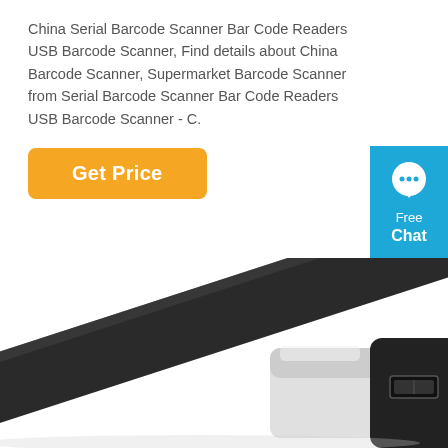China Serial Barcode Scanner Bar Code Readers USB Barcode Scanner, Find details about China Barcode Scanner, Supermarket Barcode Scanner from Serial Barcode Scanner Bar Code Readers USB Barcode Scanner - C.
[Figure (other): Orange 'Get Price' button]
[Figure (other): Blue chat widget with speech bubble icon, text 'Free Chat']
[Figure (photo): Close-up photo of a black and white USB barcode scanner device showing the USB port end and the handle/neck area on a white background]